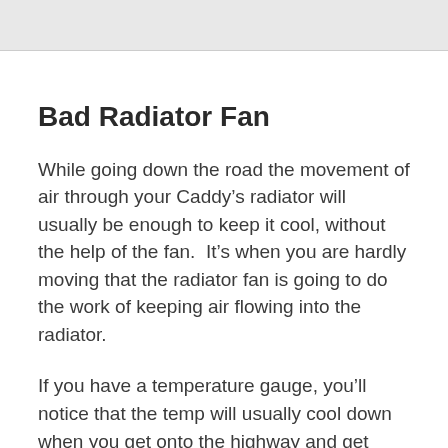[Figure (photo): Gray placeholder image area at the top of the page]
Bad Radiator Fan
While going down the road the movement of air through your Caddy’s radiator will usually be enough to keep it cool, without the help of the fan.  It’s when you are hardly moving that the radiator fan is going to do the work of keeping air flowing into the radiator.
If you have a temperature gauge, you’ll notice that the temp will usually cool down when you get onto the highway and get moving into clean air.  When the cooling